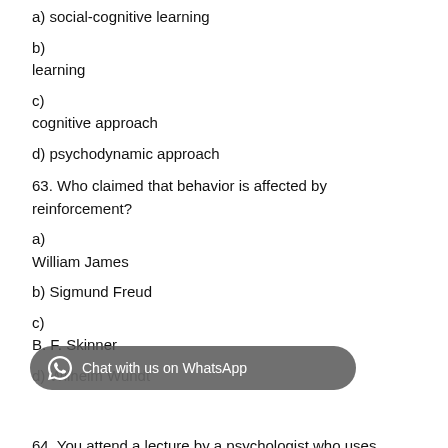a) social-cognitive learning
b)
learning
c)
cognitive approach
d) psychodynamic approach
63. Who claimed that behavior is affected by reinforcement?
a)
William James
b) Sigmund Freud
c)
B. F. Skinner
d) Wilhelm Wundt
64. You attend a lecture by a psychologist who uses terms such as...